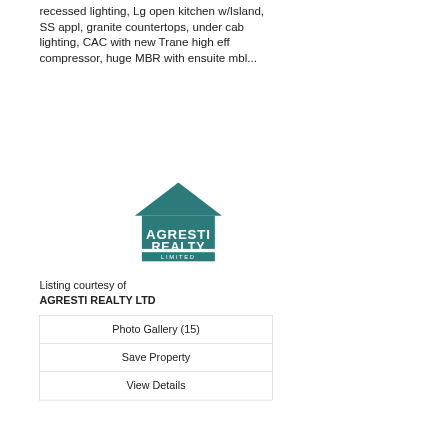recessed lighting, Lg open kitchen w/Island, SS appl, granite countertops, under cab lighting, CAC with new Trane high eff compressor, huge MBR with ensuite mbl...
[Figure (logo): Agresti Realty Limited logo — teal house shape above text AGRESTI REALTY LIMITED]
Listing courtesy of AGRESTI REALTY LTD
| Photo Gallery (15) |
| Save Property |
| View Details |